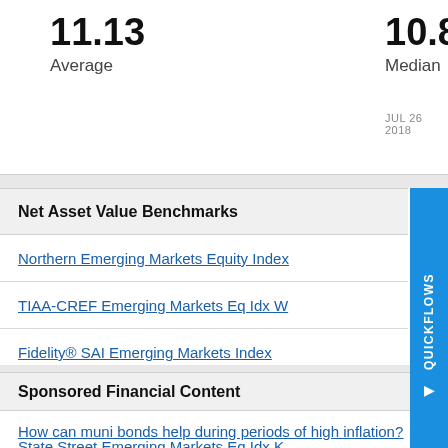11.13
Average
10.89
Median
JUL 26 2018
Net Asset Value Benchmarks
Northern Emerging Markets Equity Index
TIAA-CREF Emerging Markets Eq Idx W
Fidelity® SAI Emerging Markets Index
Voya Emerging Markets Index Port I
State Street Emerging Markets Eq Idx K
Sponsored Financial Content
How can muni bonds help during periods of high inflation?